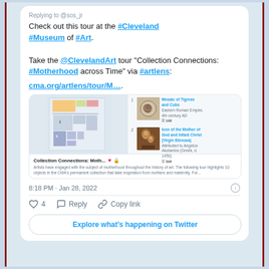Replying to @sos_jr
Check out this tour at the #Cleveland #Museum of #Art.

Take the @ClevelandArt tour "Collection Connections: #Motherhood across Time" via #artlens:

cma.org/artlens/tour/M....
[Figure (screenshot): Preview card showing a museum floor map and two artwork thumbnails: 'Mosaic of Tigress and Cubs' (Eastern Roman Empire, 4th century AD) and 'Icon of the Mother of God and Infant Christ (Virgin Eleousa)' (Attributed to Angelos Akotantos, Greek, d. 1450), with 'Collection Connections: Moth...' title and description text about motherhood in art.]
8:18 PM · Jan 28, 2022
4  Reply  Copy link
Explore what's happening on Twitter